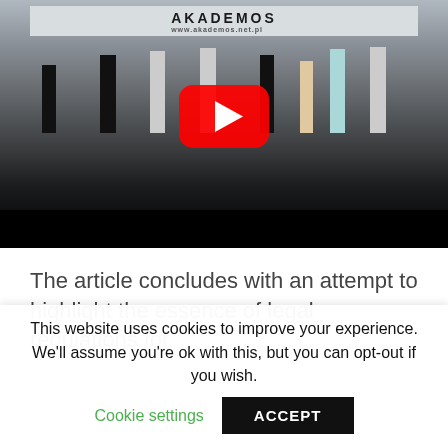[Figure (screenshot): YouTube video thumbnail showing a stage performance with dancers/performers in a hall with an 'AKADEMOS' banner visible in the background. A large red YouTube play button overlay is centered on the image. The bottom portion of the thumbnail is a black bar.]
The article concludes with an attempt to highlight the essence of legal regulations for
This website uses cookies to improve your experience. We'll assume you're ok with this, but you can opt-out if you wish.
Cookie settings
ACCEPT